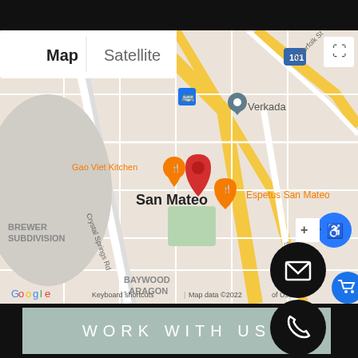[Figure (map): Google Maps screenshot showing San Mateo, CA area with Map/Satellite toggle buttons, markers for Verkada, Gao Viet Kitchen, Espetus San Mateo, a red location pin in San Mateo center. Shows Brewer Subdivision, Baywood-Aragon neighborhoods, Crystal Springs Rd, S Delaware St, route 101. Google logo and map data copyright 2022 visible at bottom.]
WORK WITH US